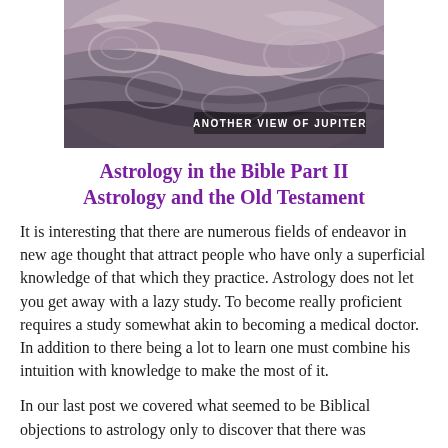[Figure (photo): Close-up swirling cloud bands of Jupiter with text overlay reading 'ANOTHER VIEW OF JUPITER']
Astrology in the Bible Part II Astrology and the Old Testament
It is interesting that there are numerous fields of endeavor in new age thought that attract people who have only a superficial knowledge of that which they practice. Astrology does not let you get away with a lazy study. To become really proficient requires a study somewhat akin to becoming a medical doctor. In addition to there being a lot to learn one must combine his intuition with knowledge to make the most of it.
In our last post we covered what seemed to be Biblical objections to astrology only to discover that there was